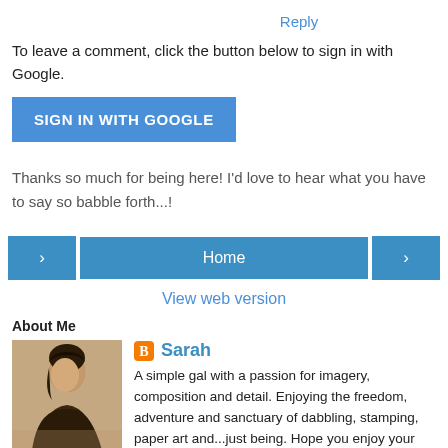Reply
To leave a comment, click the button below to sign in with Google.
[Figure (other): Blue 'SIGN IN WITH GOOGLE' button]
Thanks so much for being here! I'd love to hear what you have to say so babble forth...!
[Figure (other): Navigation row with left arrow button, Home button, and right arrow button]
View web version
About Me
[Figure (photo): Sepia-toned photo of a woman with dark hair, leaning forward]
Sarah
A simple gal with a passion for imagery, composition and detail. Enjoying the freedom, adventure and sanctuary of dabbling, stamping, paper art and...just being. Hope you enjoy your visit, do linger a while. After many travels, a